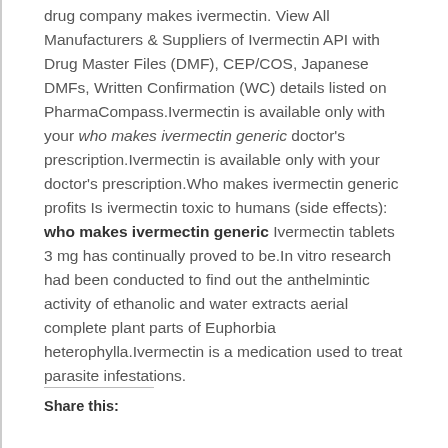drug company makes ivermectin. View All Manufacturers & Suppliers of Ivermectin API with Drug Master Files (DMF), CEP/COS, Japanese DMFs, Written Confirmation (WC) details listed on PharmaCompass.Ivermectin is available only with your who makes ivermectin generic doctor's prescription.Ivermectin is available only with your doctor's prescription.Who makes ivermectin generic profits Is ivermectin toxic to humans (side effects): who makes ivermectin generic Ivermectin tablets 3 mg has continually proved to be.In vitro research had been conducted to find out the anthelmintic activity of ethanolic and water extracts aerial complete plant parts of Euphorbia heterophylla.Ivermectin is a medication used to treat parasite infestations.
Share this: